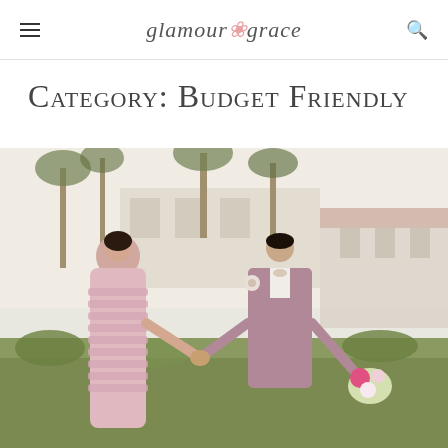glamour & grace
Category: Budget Friendly
[Figure (photo): A couple in a garden setting. The woman wears a pink strapless ruffled gown; the man wears a dusty rose/mauve suit with a bow tie and boutonniere. They are holding hands outdoors with palm trees and a building in the background.]